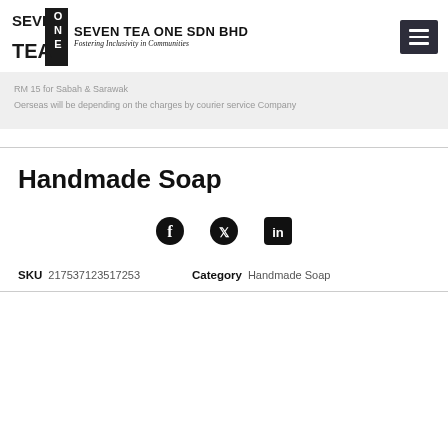SEVEN TEA ONE SDN BHD — Fostering Inclusivity in Communities
RM 15 for Sabah & Sarawak
Oerseas will be depending on the charges by courier service Company
Handmade Soap
[Figure (infographic): Social share icons: Facebook, Twitter, LinkedIn]
SKU 217537123517253   Category Handmade Soap